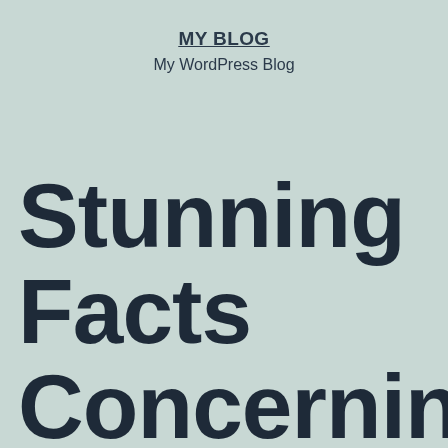MY BLOG
My WordPress Blog
Stunning Facts Concerning Holding A